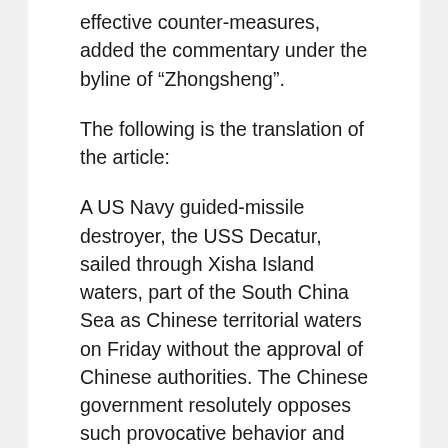effective counter-measures, added the commentary under the byline of “Zhongsheng”.
The following is the translation of the article:
A US Navy guided-missile destroyer, the USS Decatur, sailed through Xisha Island waters, part of the South China Sea as Chinese territorial waters on Friday without the approval of Chinese authorities. The Chinese government resolutely opposes such provocative behavior and will take a series of effective counter-measures.
In the statement of the Chinese government on the territorial sea baseline issued in May 1996, China clarified the baseline of the Xisha Islands.